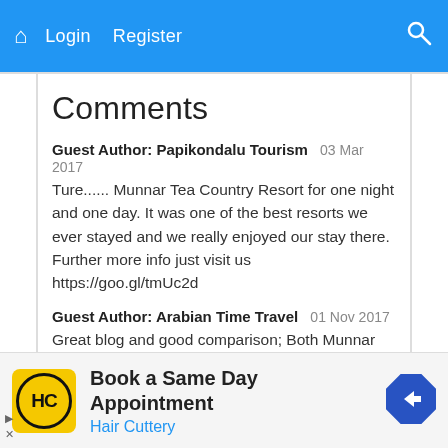Home  Login  Register  [search icon]
Comments
Guest Author: Papikondalu Tourism   03 Mar 2017
Ture...... Munnar Tea Country Resort for one night and one day. It was one of the best resorts we ever stayed and we really enjoyed our stay there. Further more info just visit us https://goo.gl/tmUc2d
Guest Author: Arabian Time Travel   01 Nov 2017
Great blog and good comparison; Both Munnar and Alleppey are good tourist destinations in Kerala. Munnar is a hillstation, and Alleppy is a seashore with lots of backwaters as well as countryside. Like this, there are many good places in Kerala re you can enjoy a good holiday. Be it any destination,
[Figure (infographic): Advertisement banner for Hair Cuttery - Book a Same Day Appointment, with yellow HC logo and blue navigation arrow icon]